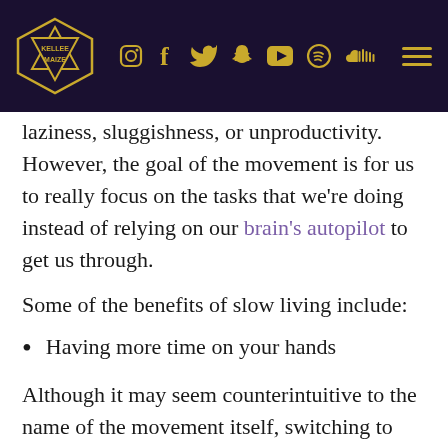Kellee Maize — navigation header with logo and social media icons
laziness, sluggishness, or unproductivity. However, the goal of the movement is for us to really focus on the tasks that we're doing instead of relying on our brain's autopilot to get us through.
Some of the benefits of slow living include:
Having more time on your hands
Although it may seem counterintuitive to the name of the movement itself, switching to slow living can help you prioritize what things